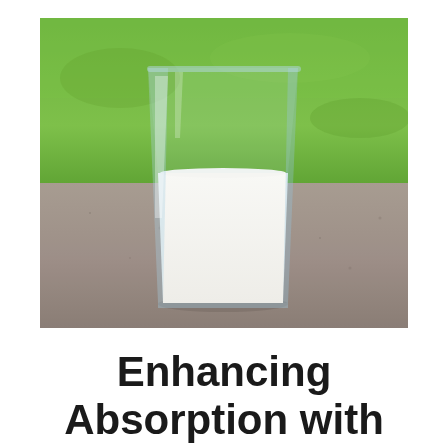[Figure (photo): A glass of white milk sitting on a gray stone or concrete ledge outdoors, with a lush green grass background. The glass is clear and tapered, filled about three-quarters full with milk.]
Enhancing Absorption with